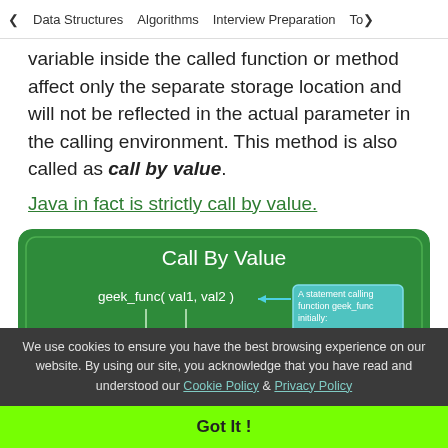< Data Structures   Algorithms   Interview Preparation   To>
variable inside the called function or method affect only the separate storage location and will not be reflected in the actual parameter in the calling environment. This method is also called as call by value.
Java in fact is strictly call by value.
[Figure (infographic): Call By Value diagram showing geek_func(val1, val2) with an arrow from a callout box labeled 'A statement calling function geek_func initially:' and vertical lines going down, on a green background]
We use cookies to ensure you have the best browsing experience on our website. By using our site, you acknowledge that you have read and understood our Cookie Policy & Privacy Policy
Got It !